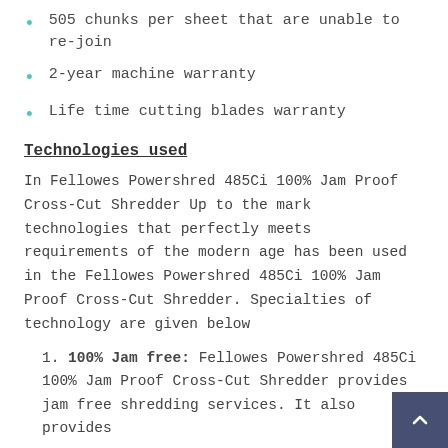505 chunks per sheet that are unable to re-join
2-year machine warranty
Life time cutting blades warranty
Technologies used
In Fellowes Powershred 485Ci 100% Jam Proof Cross-Cut Shredder Up to the mark technologies that perfectly meets requirements of the modern age has been used in the Fellowes Powershred 485Ci 100% Jam Proof Cross-Cut Shredder. Specialties of technology are given below
1. 100% Jam free: Fellowes Powershred 485Ci 100% Jam Proof Cross-Cut Shredder provides jam free shredding services. It also provides